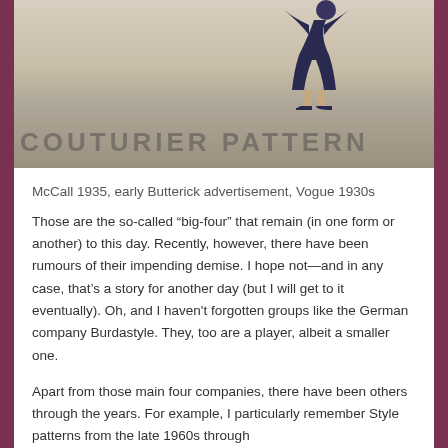[Figure (illustration): Vintage fashion illustration showing a figure in a dress with high heels, with 'COUTURIER PATTERN' text visible at the bottom of the image]
McCall 1935, early Butterick advertisement, Vogue 1930s
Those are the so-called “big-four” that remain (in one form or another) to this day. Recently, however, there have been rumours of their impending demise. I hope not—and in any case, that’s a story for another day (but I will get to it eventually). Oh, and I haven't forgotten groups like the German company Burdastyle. They, too are a player, albeit a smaller one.
Apart from those main four companies, there have been others through the years. For example, I particularly remember Style patterns from the late 1960s through